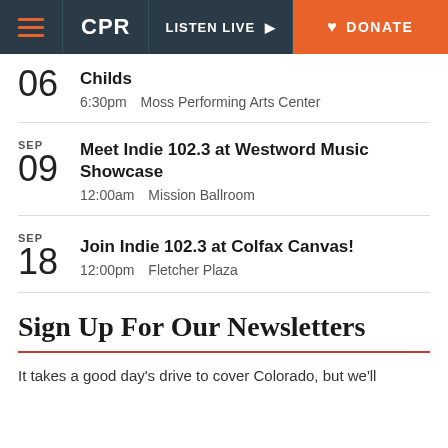CPR | LISTEN LIVE | DONATE
06 Childs
6:30pm  Moss Performing Arts Center
SEP 09  Meet Indie 102.3 at Westword Music Showcase
12:00am  Mission Ballroom
SEP 18  Join Indie 102.3 at Colfax Canvas!
12:00pm  Fletcher Plaza
Sign Up For Our Newsletters
It takes a good day's drive to cover Colorado, but we'll